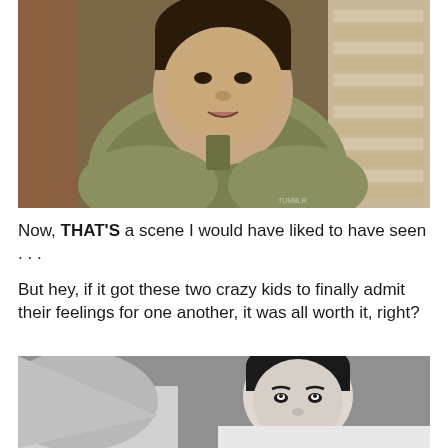[Figure (photo): Young man in olive green henley shirt leaning forward, appearing to speak expressively, with brick wall background in a restaurant/bar setting. Watermark visible in bottom right corner.]
Now, THAT'S a scene I would have liked to have seen . . .
But hey, if it got these two crazy kids to finally admit their feelings for one another, it was all worth it, right?
[Figure (photo): Black and white photo of a dark-haired young man looking up, partially cropped, appears to be in bed or lying down area with pillows.]